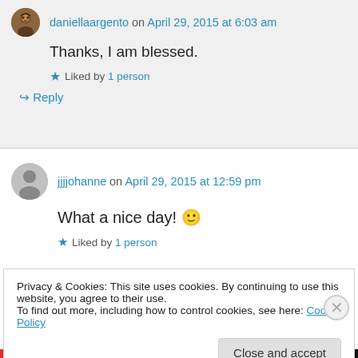daniellaargento on April 29, 2015 at 6:03 am
Thanks, I am blessed.
Liked by 1 person
Reply
jjjjohanne on April 29, 2015 at 12:59 pm
What a nice day! 🙂
Liked by 1 person
Privacy & Cookies: This site uses cookies. By continuing to use this website, you agree to their use. To find out more, including how to control cookies, see here: Cookie Policy
Close and accept